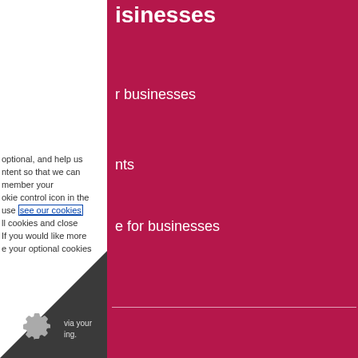isinesses
r businesses
nts
e for businesses
n
ons
tatement
optional, and help us ntent so that we can member your okie control icon in the use see our cookies ll cookies and close If you would like more e your optional cookies
via your ing.